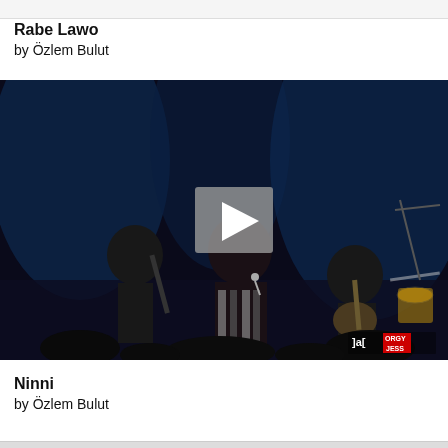Rabe Lawo
by Özlem Bulut
[Figure (photo): Concert video thumbnail showing a female singer in a striped outfit performing on stage with band members including a clarinetist and guitarist, dark blue stage lighting, with a play button overlay in the center and ']a[ ORGY JESS' watermark in the bottom right corner]
Ninni
by Özlem Bulut